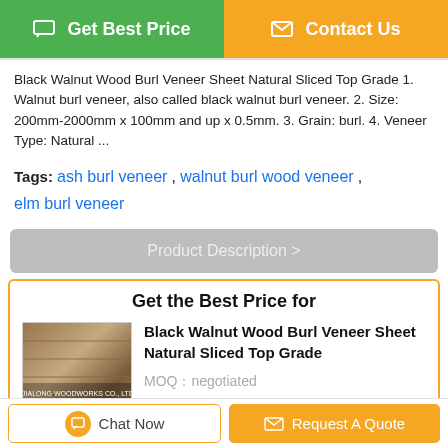[Figure (screenshot): Two call-to-action buttons: green 'Get Best Price' and orange 'Contact Us']
Black Walnut Wood Burl Veneer Sheet Natural Sliced Top Grade 1. Walnut burl veneer, also called black walnut burl veneer. 2. Size: 200mm-2000mm x 100mm and up x 0.5mm. 3. Grain: burl. 4. Veneer Type: Natural ...
Tags: ash burl veneer , walnut burl wood veneer , elm burl veneer
Product Description >
Get the Best Price for
[Figure (photo): Product image of Black Walnut Wood Burl Veneer Sheet with JIALONG WOODWORKS CO., LTD watermark]
Black Walnut Wood Burl Veneer Sheet Natural Sliced Top Grade
MOQ：negotiated
Price：negotiated
Continue
Chat Now
Request A Quote